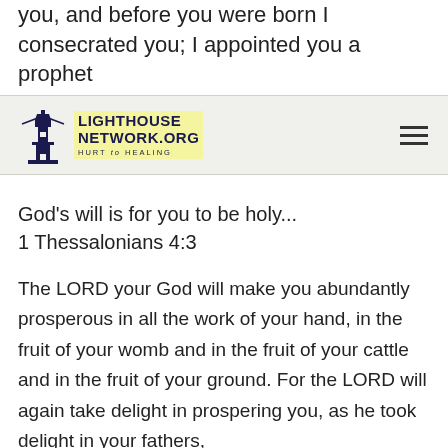you, and before you were born I consecrated you; I appointed you a prophet
[Figure (logo): Lighthouse Network.org HURT to HEALING logo with lighthouse icon and navigation hamburger menu]
God’s will is for you to be holy...
1 Thessalonians 4:3
The LORD your God will make you abundantly prosperous in all the work of your hand, in the fruit of your womb and in the fruit of your cattle and in the fruit of your ground. For the LORD will again take delight in prospering you, as he took delight in your fathers,